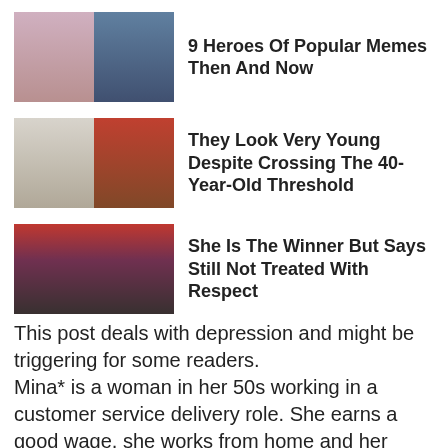[Figure (photo): Two photos side by side: a young woman with braids making a peace sign, and a female gymnast wearing a medal]
9 Heroes Of Popular Memes Then And Now
[Figure (photo): Two photos: a white rectangular object and an older Asian man in a red jacket and white beanie hat]
They Look Very Young Despite Crossing The 40-Year-Old Threshold
[Figure (photo): Group of people at what appears to be a game show or event with colorful signage]
She Is The Winner But Says Still Not Treated With Respect
This post deals with depression and might be triggering for some readers. Mina* is a woman in her 50s working in a customer service delivery role. She earns a good wage, she works from home and her